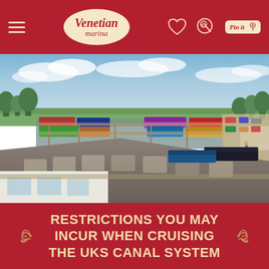Venetian Marina — navigation header with hamburger menu, logo, heart icon, boat search icon, Pin It icon
[Figure (photo): Aerial view of Venetian Marina showing narrowboats and barges moored along jetties in a canal basin, surrounded by green fields and trees under a partly cloudy sky, with a large building roof in the foreground and a road visible to the right]
RESTRICTIONS YOU MAY INCUR WHEN CRUISING THE UKS CANAL SYSTEM